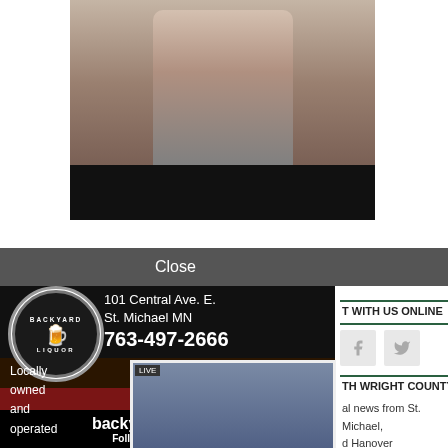[Figure (photo): Partial photo of a person at the top of the page, with a dark black bar below the photo]
Close
TMA
[Figure (advertisement): Backyard Liquor advertisement. Logo circle with beer mugs. Address: 101 Central Ave. E., St. Michael MN, 763-497-2666. Photo of staff in blue hoodies. Text: Locally owned and operated. Hours: Open: Mon.–Sat. 10am–10pm, Sunday 11am–6pm. Website: backyardliquor.com. Follow us on Facebook.]
T WITH US ONLINE
[Figure (infographic): Facebook and Twitter social media icon boxes in light gray]
TH WRIGHT COUNTY TODAY
al news from St. Michael, d Hanover